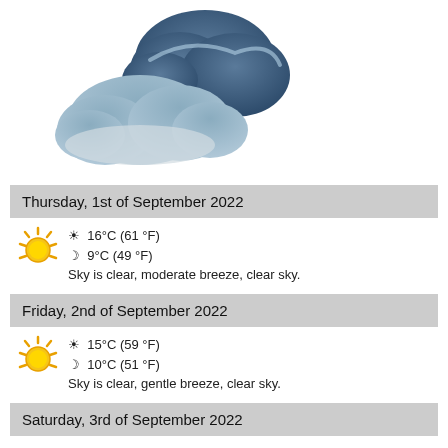[Figure (illustration): Two overlapping dark blue-grey storm clouds illustration on white background]
Thursday, 1st of September 2022
☀ 16°C (61 °F)
☽ 9°C (49 °F)
Sky is clear, moderate breeze, clear sky.
Friday, 2nd of September 2022
☀ 15°C (59 °F)
☽ 10°C (51 °F)
Sky is clear, gentle breeze, clear sky.
Saturday, 3rd of September 2022